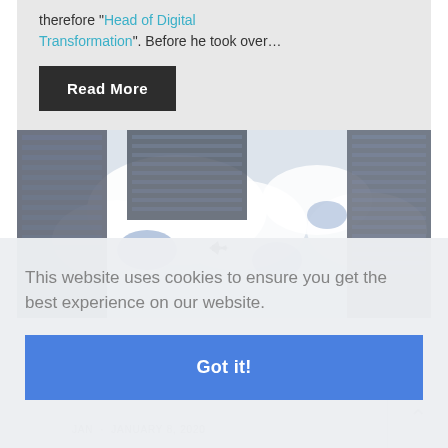therefore "Head of Digital Transformation". Before he took over…
Read More
[Figure (photo): Upward looking view of skyscrapers with clouds and a small airplane visible between the buildings]
This website uses cookies to ensure you get the best experience on our website.
Got it!
JAN  ·  JANUARY 8, 2020